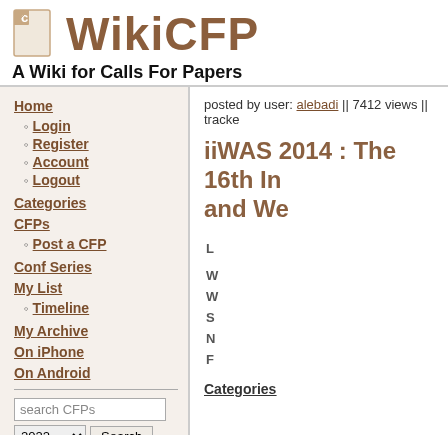WikiCFP - A Wiki for Calls For Papers
Home
Login
Register
Account
Logout
Categories
CFPs
Post a CFP
Conf Series
My List
Timeline
My Archive
On iPhone
On Android
posted by user: alebadi || 7412 views || tracke
iiWAS 2014 : The 16th In and We
Categories